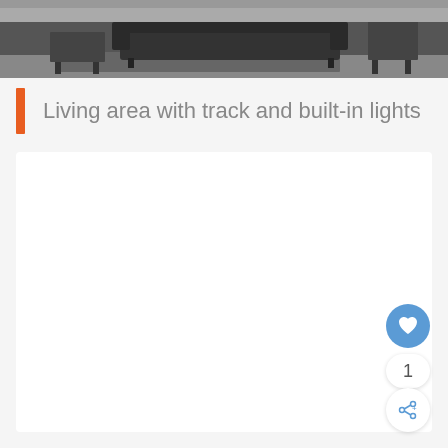[Figure (photo): Black and white photograph of a living area interior showing a sofa, side table, and furniture on a rug]
Living area with track and built-in lights
[Figure (other): White content area with heart/like button (blue circle with heart icon), count number 1, and share button (white circle with share icon) in bottom-right corner]